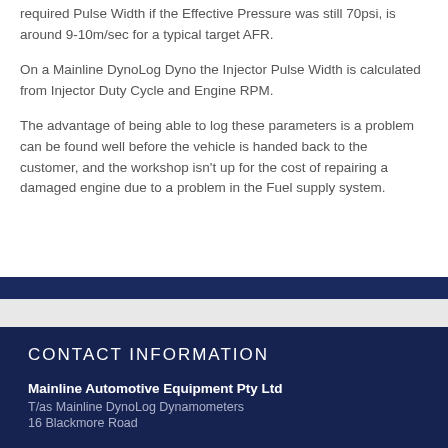required Pulse Width if the Effective Pressure was still 70psi, is around 9-10m/sec for a typical target AFR.
On a Mainline DynoLog Dyno the Injector Pulse Width is calculated from Injector Duty Cycle and Engine RPM.
The advantage of being able to log these parameters is a problem can be found well before the vehicle is handed back to the customer, and the workshop isn't up for the cost of repairing a damaged engine due to a problem in the Fuel supply system.
CONTACT INFORMATION
Mainline Automotive Equipment Pty Ltd
T/as Mainline DynoLog Dynamometers
16 Blackmore Road